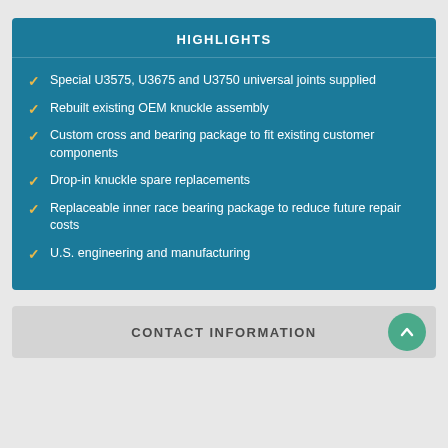HIGHLIGHTS
Special U3575, U3675 and U3750 universal joints supplied
Rebuilt existing OEM knuckle assembly
Custom cross and bearing package to fit existing customer components
Drop-in knuckle spare replacements
Replaceable inner race bearing package to reduce future repair costs
U.S. engineering and manufacturing
CONTACT INFORMATION